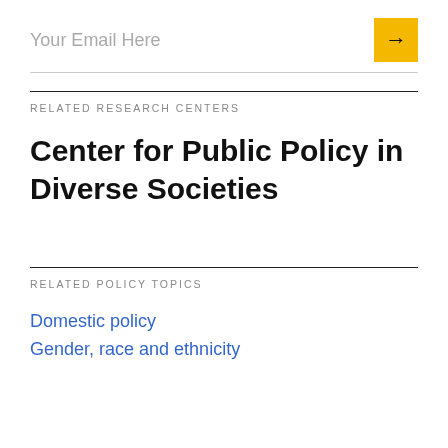Your Email Here
RELATED RESEARCH CENTERS
Center for Public Policy in Diverse Societies
RELATED POLICY TOPICS
Domestic policy
Gender, race and ethnicity